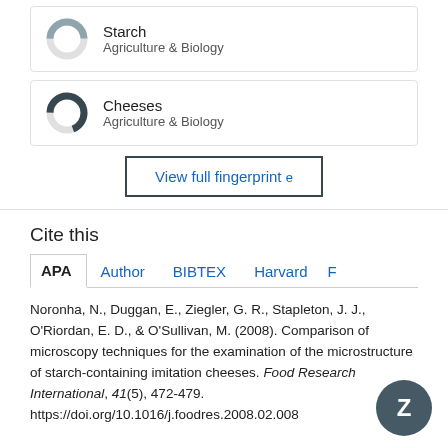[Figure (donut-chart): Donut chart icon for Starch, Agriculture & Biology]
Starch
Agriculture & Biology
[Figure (donut-chart): Donut chart icon for Cheeses, Agriculture & Biology]
Cheeses
Agriculture & Biology
View full fingerprint e
Cite this
APA  Author  BIBTEX  Harvard  F
Noronha, N., Duggan, E., Ziegler, G. R., Stapleton, J. J., O'Riordan, E. D., & O'Sullivan, M. (2008). Comparison of microscopy techniques for the examination of the microstructure of starch-containing imitation cheeses. Food Research International, 41(5), 472-479. https://doi.org/10.1016/j.foodres.2008.02.008